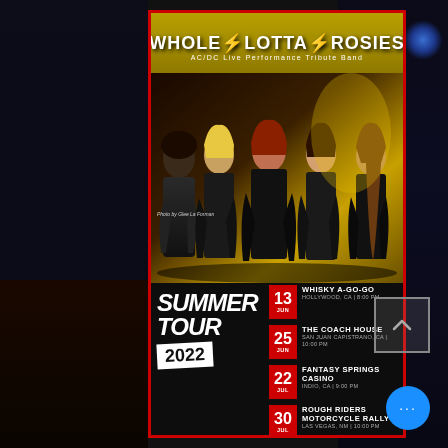WHOLE LOTTA ROSIES
AC/DC Live Performance Tribute Band
[Figure (photo): Five women band members posed together on stage in black outfits, rock band style]
Photo by Glee La Forman
SUMMER TOUR 2022
13 JUN — WHISKY A-GO-GO | HOLLYWOOD, CA | 8:00 PM
25 JUN — THE COACH HOUSE | SAN JUAN CAPISTRANO, CA | 10:00 PM
22 JUL — FANTASY SPRINGS CASINO | INDIO, CA | 9:00 PM
30 JUL — ROUGH RIDERS MOTORCYCLE RALLY | LAS VEGAS, NM | 10:00 PM
13 AUG — FEATHER FALLS CASINO | OROVILLE, CA | 10:00 PM